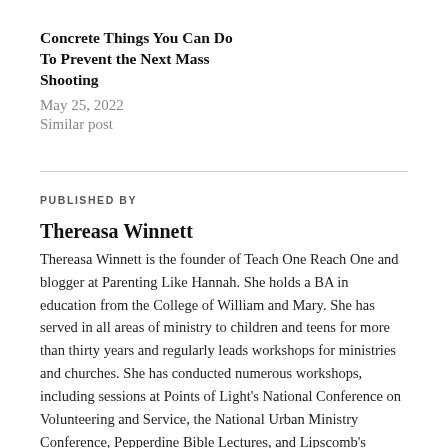Concrete Things You Can Do To Prevent the Next Mass Shooting
May 25, 2022
Similar post
PUBLISHED BY
Thereasa Winnett
Thereasa Winnett is the founder of Teach One Reach One and blogger at Parenting Like Hannah. She holds a BA in education from the College of William and Mary. She has served in all areas of ministry to children and teens for more than thirty years and regularly leads workshops for ministries and churches. She has conducted numerous workshops, including sessions at Points of Light's National Conference on Volunteering and Service, the National Urban Ministry Conference, Pepperdine Bible Lectures, and Lipscomb's Summer Celebration. Thereasa lives in Atlanta, GA with her husband Greg, where she enjoys reading, knitting, traveling and cooking. View all posts by Thereasa Winnett →